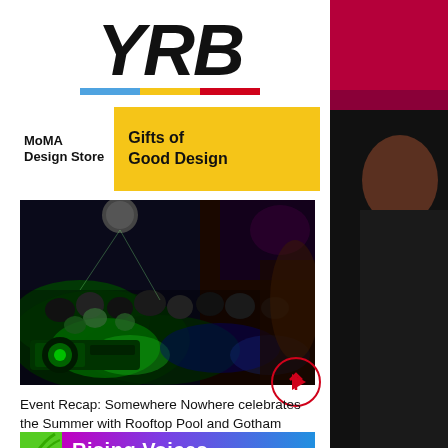[Figure (logo): YRB magazine logo in bold italic black text with tricolor underline (blue, yellow, red)]
[Figure (photo): Advertisement banner: MoMA Design Store - Gifts of Good Design with yellow background]
[Figure (photo): Nightclub scene with green-lit crowd and DJ equipment, colorful lights]
Event Recap: Somewhere Nowhere celebrates the Summer with Rooftop Pool and Gotham Jazz
[Figure (photo): Rising Voices banner with colorful gradient background]